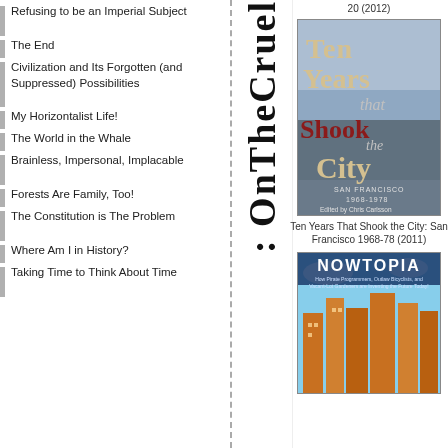Refusing to be an Imperial Subject
The End
Civilization and Its Forgotten (and Suppressed) Possibilities
My Horizontalist Life!
The World in the Whale
Brainless, Impersonal, Implacable
Forests Are Family, Too!
The Constitution is The Problem
Where Am I in History?
Taking Time to Think About Time
: O n T h e C r u e l
20 (2012)
[Figure (photo): Book cover: Ten Years That Shook the City: San Francisco 1968-1978, edited by Chris Carlsson]
Ten Years That Shook the City: San Francisco 1968-78 (2011)
[Figure (photo): Book cover: Nowtopia - How Pirate Programmers, Outlaw Bicyclists, and Vacant-Lot Gardeners are Inventing the Future Today!]